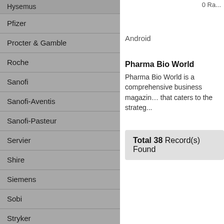Hysemus
Pfizer
Procter & Gamble
Roche
Sanofi
Sanofi-Aventis
Sanofi-Pasteur
Servier
Shire
Siemens
Sobi
Stryker
Sunovion
Takeda
Teva
United Laboratories
0 Ra...
Android
Pharma Bio World
Pharma Bio World is a comprehensive business magazine that caters to the strateg...
Total 38 Record(s) Found